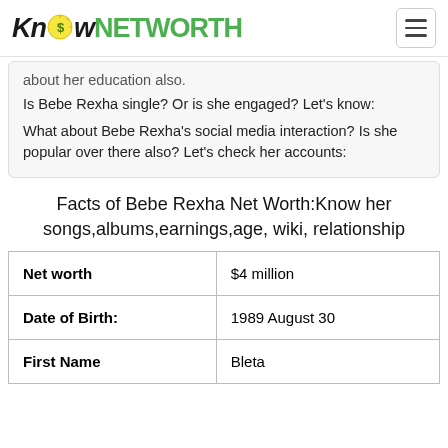KnowNETWORTH
about her education also.
Is Bebe Rexha single? Or is she engaged? Let's know:
What about Bebe Rexha's social media interaction? Is she popular over there also? Let's check her accounts:
Facts of Bebe Rexha Net Worth:Know her songs,albums,earnings,age, wiki, relationship
|  |  |
| --- | --- |
| Net worth | $4 million |
| Date of Birth: | 1989 August 30 |
| First Name | Bleta |